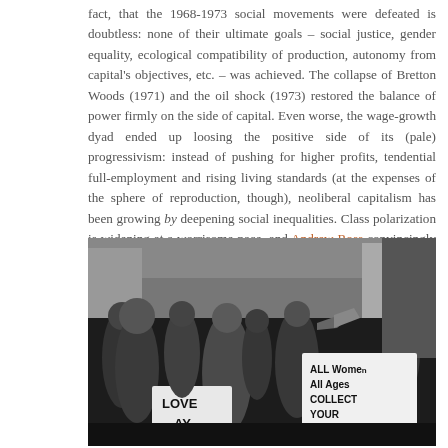fact, that the 1968-1973 social movements were defeated is doubtless: none of their ultimate goals – social justice, gender equality, ecological compatibility of production, autonomy from capital's objectives, etc. – was achieved. The collapse of Bretton Woods (1971) and the oil shock (1973) restored the balance of power firmly on the side of capital. Even worse, the wage-growth dyad ended up loosing the positive side of its (pale) progressivism: instead of pushing for higher profits, tendential full-employment and rising living standards (at the expenses of the sphere of reproduction, though), neoliberal capitalism has been growing by deepening social inequalities. Class polarization is widening at a worrisome pace, and Andrew Ross convincingly argued that such resource-hoarding on the part of global elites is a reactionary way of facing the ecological crisis.
[Figure (photo): Black and white photograph of a protest scene from the 1970s. People hold signs including 'ALL Women ALL Ages COLLECT YOUR (WAGES)' and 'LOVE (PAY)'. A woman in the center holds a megaphone. Protesters are on a city street.]